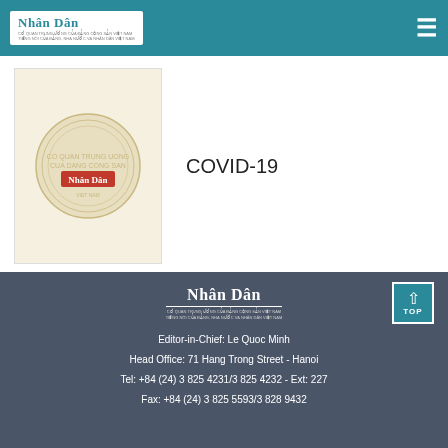Nhân Dân
[Figure (logo): Nhân Dân newspaper logo stamp placeholder thumbnail]
COVID-19
[Figure (logo): Nhân Dân newspaper logo stamp placeholder thumbnail]
Urgent action to combat climate change
[Figure (logo): Nhân Dân footer logo]
Editor-in-Chief: Le Quoc Minh
Head Office: 71 Hang Trong Street - Hanoi
Tel: +84 (24) 3 825 4231/3 825 4232 - Ext: 227
Fax: +84 (24) 3 825 5593/3 828 9432